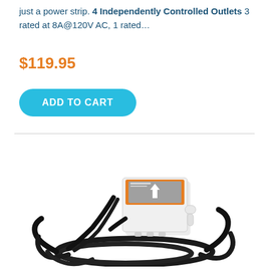just a power strip. 4 Independently Controlled Outlets 3 rated at 8A@120V AC, 1 rated…
$119.95
ADD TO CART
[Figure (photo): A small white plastic electrical device/controller with an orange border on top and a gray label with a white arrow, with black cables and a white tubing connector coming out of it, coiled on a white background.]